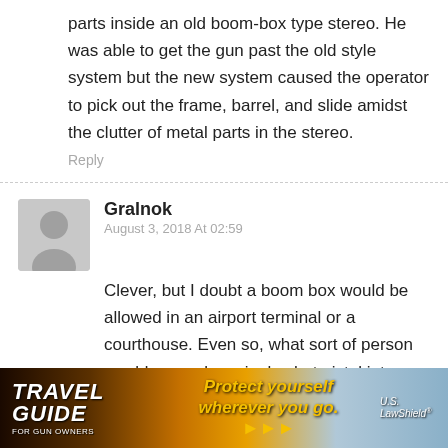parts inside an old boom-box type stereo. He was able to get the gun past the old style system but the new system caused the operator to pick out the frame, barrel, and slide amidst the clutter of metal parts in the stereo.
Reply
Gralnok
August 3, 2018 At 02:59
Clever, but I doubt a boom box would be allowed in an airport terminal or a courthouse. Even so, what sort of person would smuggle a single shot pistol into an airport?
Reply
[Figure (photo): Travel Guide For Gun Owners advertisement banner with text 'Protect yourself wherever you go.' and US LawShield branding]